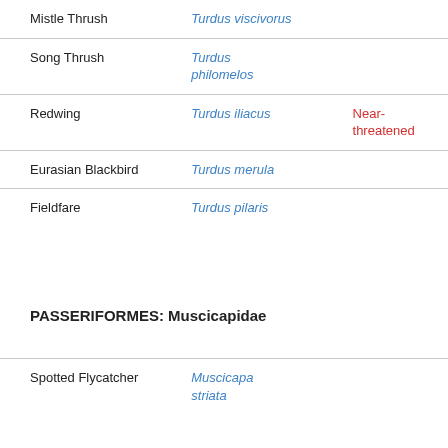| Common Name | Scientific Name | Status |
| --- | --- | --- |
| Mistle Thrush | Turdus viscivorus |  |
| Song Thrush | Turdus philomelos |  |
| Redwing | Turdus iliacus | Near-threatened |
| Eurasian Blackbird | Turdus merula |  |
| Fieldfare | Turdus pilaris |  |
PASSERIFORMES: Muscicapidae
| Common Name | Scientific Name | Status |
| --- | --- | --- |
| Spotted Flycatcher | Muscicapa striata |  |